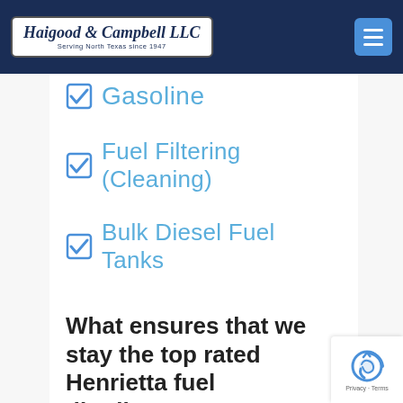Haigood & Campbell LLC — Serving North Texas since 1947
✅ Gasoline
✅ Fuel Filtering (Cleaning)
✅ Bulk Diesel Fuel Tanks
What ensures that we stay the top rated Henrietta fuel distributor?
#1 Dependability
Haigood & Campbell has been in business serving Henrietta Texas since